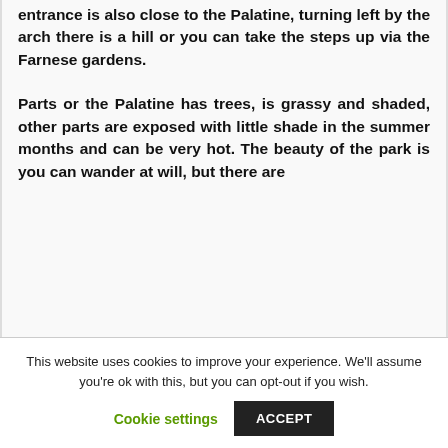entrance is also close to the Palatine, turning left by the arch there is a hill or you can take the steps up via the Farnese gardens.

Parts or the Palatine has trees, is grassy and shaded, other parts are exposed with little shade in the summer months and can be very hot. The beauty of the park is you can wander at will, but there are
This website uses cookies to improve your experience. We'll assume you're ok with this, but you can opt-out if you wish.